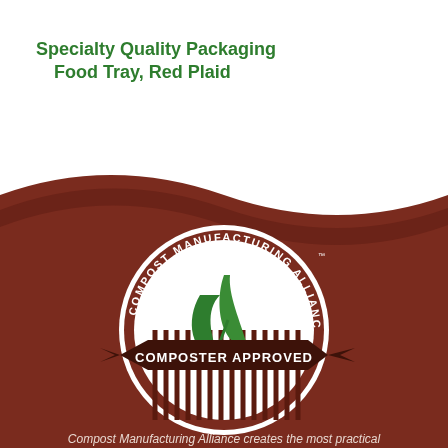Specialty Quality Packaging
Food Tray, Red Plaid
[Figure (logo): Compost Manufacturing Alliance Composter Approved circular logo with two green leaves and ribbon banner on dark reddish-brown background shaped like a food tray]
Compost Manufacturing Alliance creates the most practical